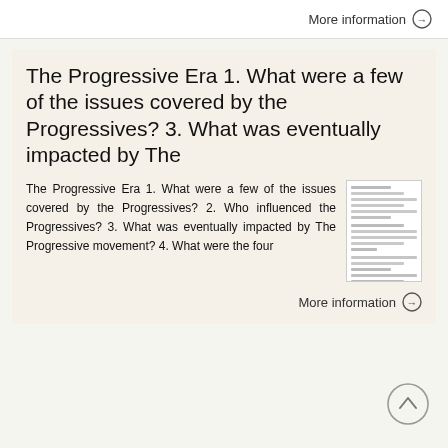More information →
The Progressive Era 1. What were a few of the issues covered by the Progressives? 3. What was eventually impacted by The
The Progressive Era 1. What were a few of the issues covered by the Progressives? 2. Who influenced the Progressives? 3. What was eventually impacted by The Progressive movement? 4. What were the four
[Figure (illustration): Thumbnail of a document page with multiple lines of text]
More information →